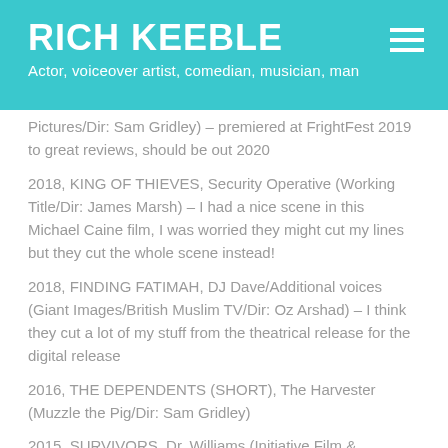RICH KEEBLE
Actor, voiceover artist, comedian, musician, man
Pictures/Dir: Sam Gridley) – premiered at FrightFest 2019 to great reviews, should be out 2020
2018, KING OF THIEVES, Security Operative (Working Title/Dir: James Marsh) – I had a nice scene in this Michael Caine film, I was worried they might cut my lines but they cut the whole scene instead!
2018, FINDING FATIMAH, DJ Dave/Additional voices (Giant Images/British Muslim TV/Dir: Oz Arshad) – I think they cut a lot of my stuff from the theatrical release for the digital release
2016, THE DEPENDENTS (SHORT), The Harvester (Muzzle the Pig/Dir: Sam Gridley)
2015, SURVIVORS, Dr. Williams (Initiative Film & Media/Dir: Adam Spinks)
2015, SLIENTHA OOTRAFER REEM ACEMENT